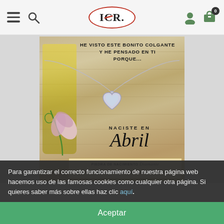ICR. navigation header with hamburger, search, logo, user icon, cart (0)
[Figure (photo): Product photo of a silver heart-shaped pendant necklace on a decorative card with wooden background. Card text reads: HE VISTO ESTE BONITO COLGANTE Y HE PENSADO EN TI PORQUE... NACISTE EN Abril. PIEDRA DE NACIMIENTO Diamante LA FLOR DE ABRIL ES Guisante de Olor. A pink sweet pea flower illustration is on the left side.]
Para garantizar el correcto funcionamiento de nuestra página web hacemos uso de las famosas cookies como cualquier otra página. Si quieres saber más sobre ellas haz clic aquí.
Aceptar